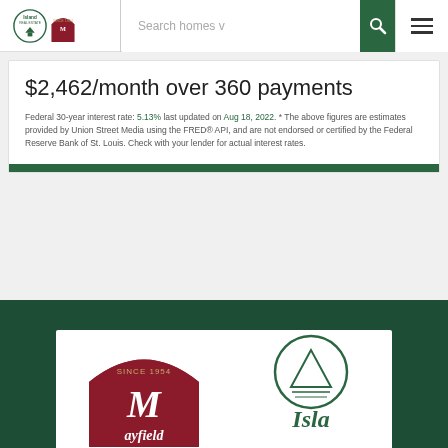Island Real Estate / Mayfield — Search homes navigation header
$2,462/month over 360 payments
Federal 30-year interest rate: 5.13% last updated on Aug 18, 2022. * The above figures are estimates provided by Union Street Media using the FRED® API, and are not endorsed or certified by the Federal Reserve Bank of St. Louis. Check with your lender for actual interest rates.
[Figure (logo): Mayfield Real Estate logo and Island Real Estate logo in white footer box on dark green background]